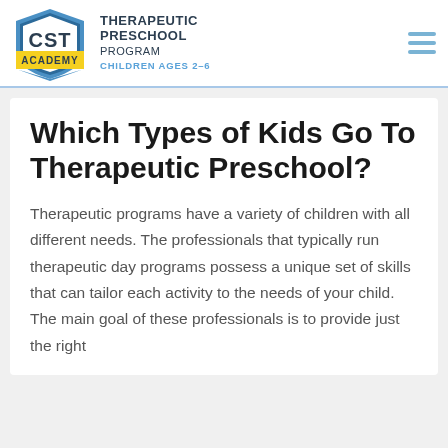[Figure (logo): CST Academy shield logo with blue and yellow colors, 'CST' text inside shield and 'ACADEMY' on yellow banner]
THERAPEUTIC PRESCHOOL PROGRAM CHILDREN AGES 2-6
Which Types of Kids Go To Therapeutic Preschool?
Therapeutic programs have a variety of children with all different needs. The professionals that typically run therapeutic day programs possess a unique set of skills that can tailor each activity to the needs of your child. The main goal of these professionals is to provide just the right